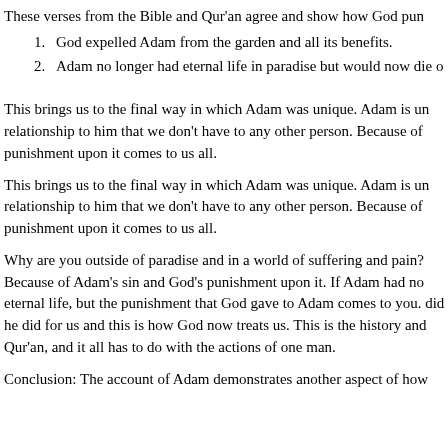These verses from the Bible and Qur'an agree and show how God pun
God expelled Adam from the garden and all its benefits.
Adam no longer had eternal life in paradise but would now die o
This brings us to the final way in which Adam was unique. Adam is un relationship to him that we don't have to any other person. Because of punishment upon it comes to us all.
This brings us to the final way in which Adam was unique. Adam is un relationship to him that we don't have to any other person. Because of punishment upon it comes to us all.
Why are you outside of paradise and in a world of suffering and pain? Because of Adam's sin and God's punishment upon it. If Adam had no eternal life, but the punishment that God gave to Adam comes to you. did he did for us and this is how God now treats us. This is the history and Qur'an, and it all has to do with the actions of one man.
Conclusion: The account of Adam demonstrates another aspect of how